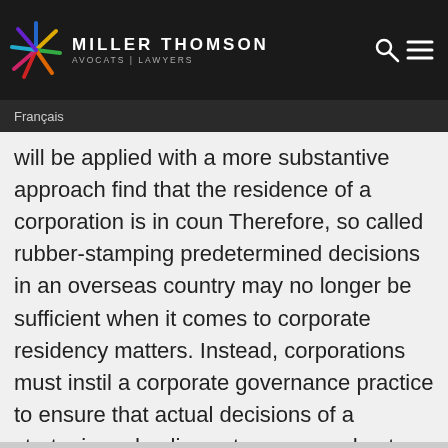MILLER THOMSON AVOCATS | LAWYERS
Français
will be applied with a more substantive approach find that the residence of a corporation is in coun Therefore, so called rubber-stamping predetermined decisions in an overseas country may no longer be sufficient when it comes to corporate residency matters. Instead, corporations must instil a corporate governance practice to ensure that actual decisions of a strategic and policy nature are made at board meetings held in the appropriate country.